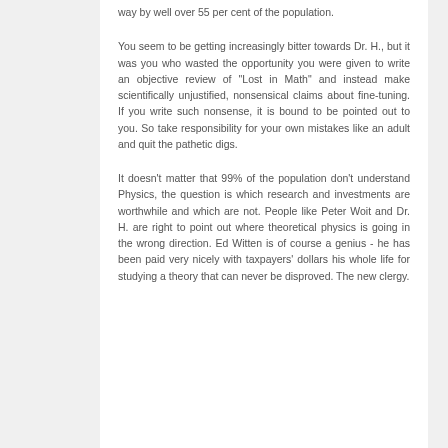way by well over 55 per cent of the population.
You seem to be getting increasingly bitter towards Dr. H., but it was you who wasted the opportunity you were given to write an objective review of "Lost in Math" and instead make scientifically unjustified, nonsensical claims about fine-tuning. If you write such nonsense, it is bound to be pointed out to you. So take responsibility for your own mistakes like an adult and quit the pathetic digs.
It doesn't matter that 99% of the population don't understand Physics, the question is which research and investments are worthwhile and which are not. People like Peter Woit and Dr. H. are right to point out where theoretical physics is going in the wrong direction. Ed Witten is of course a genius - he has been paid very nicely with taxpayers' dollars his whole life for studying a theory that can never be disproved. The new clergy.